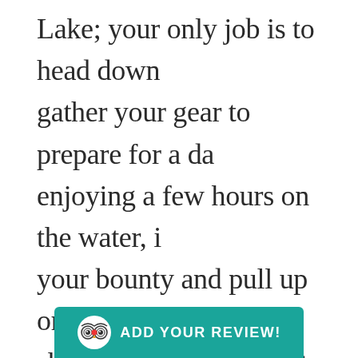Lake; your only job is to head down gather your gear to prepare for a day enjoying a few hours on the water, i your bounty and pull up on a rugge shoreline for the ultimate Canadian experience.
Catching the fish of a lifetime is eve for Joe, h of ha
[Figure (other): TripAdvisor owl logo with 'ADD YOUR REVIEW!' button in teal/green color]